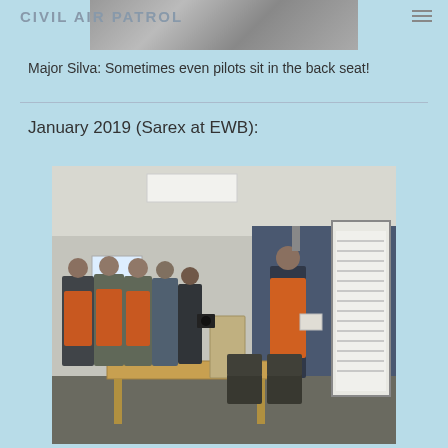CIVIL AIR PATROL
[Figure (photo): Partial photo at top of page showing a person, partially cropped]
Major Silva: Sometimes even pilots sit in the back seat!
January 2019 (Sarex at EWB):
[Figure (photo): Indoor briefing room scene with several Civil Air Patrol members in orange vests and military uniforms. A man in an orange safety vest stands at the front near a projection screen, while others stand and observe. A light wood table is in the foreground.]